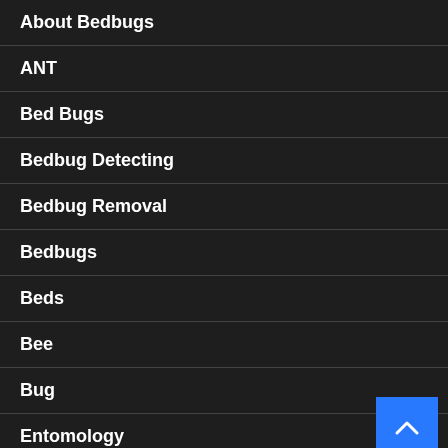About Bedbugs
ANT
Bed Bugs
Bedbug Detecting
Bedbug Removal
Bedbugs
Beds
Bee
Bug
Entomology
Pet
Termite